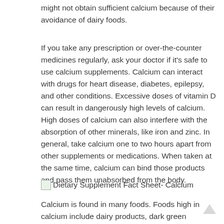might not obtain sufficient calcium because of their avoidance of dairy foods.
If you take any prescription or over-the-counter medicines regularly, ask your doctor if it’s safe to use calcium supplements. Calcium can interact with drugs for heart disease, diabetes, epilepsy, and other conditions. Excessive doses of vitamin D can result in dangerously high levels of calcium. High doses of calcium can also interfere with the absorption of other minerals, like iron and zinc. In general, take calcium one to two hours apart from other supplements or medications. When taken at the same time, calcium can bind those products and pass them unabsorbed from the body.
[Figure (illustration): Small image icon for Dietary Supplement Fact Sheet- Calcium]
Dietary Supplement Fact Sheet- Calcium
Calcium is found in many foods. Foods high in calcium include dairy products, dark green vegetables, some